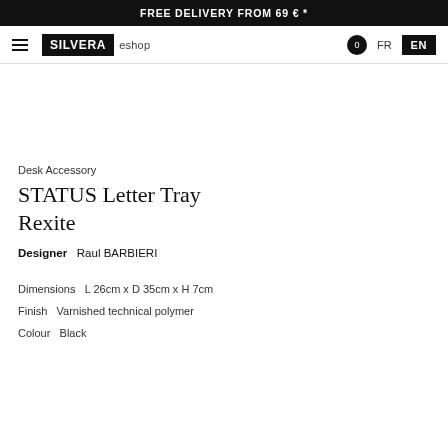FREE DELIVERY FROM 69 € *
[Figure (logo): SILVERA eshop logo with hamburger menu, cart icon, FR and EN language selectors]
Desk Accessory
STATUS Letter Tray Rexite
Designer   Raul BARBIERI
Dimensions   L 26cm x D 35cm x H 7cm
Finish   Varnished technical polymer
Colour   Black